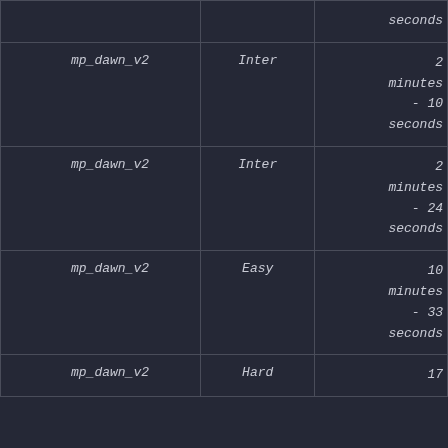| map | difficulty | time |
| --- | --- | --- |
|  |  | seconds |
| mp_dawn_v2 | Inter | 2 minutes - 10 seconds |
| mp_dawn_v2 | Inter | 2 minutes - 24 seconds |
| mp_dawn_v2 | Easy | 10 minutes - 33 seconds |
| mp_dawn_v2 | Hard | 17 |